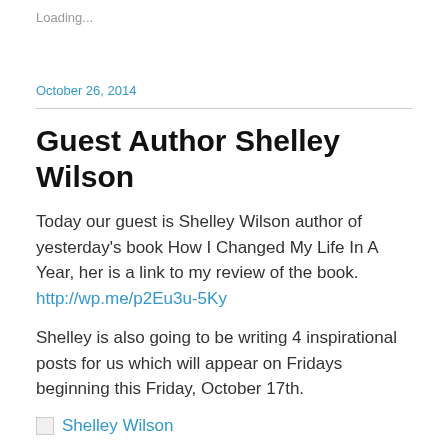Loading...
October 26, 2014
Guest Author Shelley Wilson
Today our guest is Shelley Wilson author of yesterday's book How I Changed My Life In A Year, her is a link to my review of the book. http://wp.me/p2Eu3u-5Ky
Shelley is also going to be writing 4 inspirational posts for us which will appear on Fridays beginning this Friday, October 17th.
[Figure (photo): Broken image placeholder with link text 'Shelley Wilson']